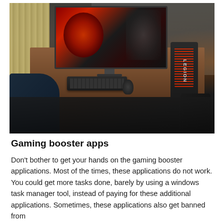[Figure (photo): A Lenovo Legion gaming desktop PC setup on a wooden desk in a dark room. The monitor displays a fiery red gaming character. The Legion tower PC with red illuminated vents is on the right. A keyboard and mouse are on the desk. A gaming chair is visible on the left.]
Gaming booster apps
Don't bother to get your hands on the gaming booster applications. Most of the times, these applications do not work. You could get more tasks done, barely by using a windows task manager tool, instead of paying for these additional applications. Sometimes, these applications also get banned from